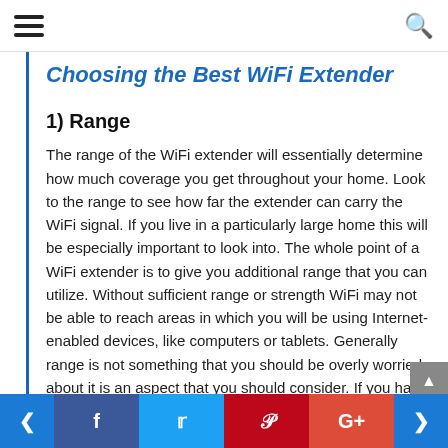[hamburger menu icon] [search icon]
Choosing the Best WiFi Extender
1) Range
The range of the WiFi extender will essentially determine how much coverage you get throughout your home. Look to the range to see how far the extender can carry the WiFi signal. If you live in a particularly large home this will be especially important to look into. The whole point of a WiFi extender is to give you additional range that you can utilize. Without sufficient range or strength WiFi may not be able to reach areas in which you will be using Internet-enabled devices, like computers or tablets. Generally range is not something that you should be overly worried about it is an aspect that you should consider. If you have a
< [Facebook] [Twitter] [Pinterest] [G+] >